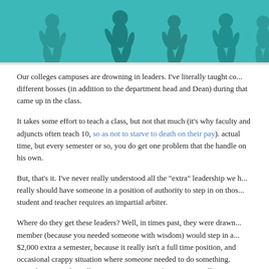[Figure (illustration): Teal/turquoise colored illustration showing silhouettes of people walking or running, appearing to be a decorative header image for an article about leadership on college campuses.]
Our colleges campuses are drowning in leaders. I've literally taught co... different bosses (in addition to the department head and Dean) during... that came up in the class.
It takes some effort to teach a class, but not that much (it's why faculty... and adjuncts often teach 10, so as not to starve to death on their pay).... actual time, but every semester or so, you do get one problem that the... handle on his own.
But, that's it. I've never really understood all the "extra" leadership we h... really should have someone in a position of authority to step in on thos... student and teacher requires an impartial arbiter.
Where do they get these leaders? Well, in times past, they were drawn... member (because you needed someone with wisdom) would step in a... $2,000 extra a semester, because it really isn't a full time position, and... occasional crappy situation where someone needed to do something.... enough: you might well get put in a position of angering a colleague, so...